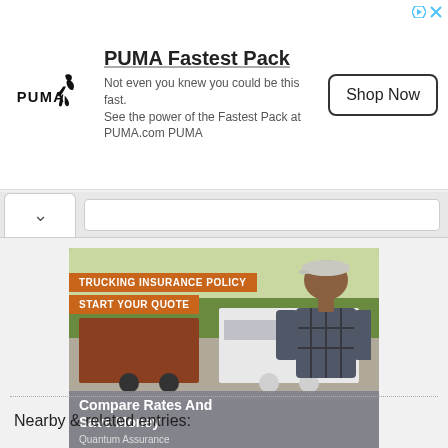[Figure (screenshot): PUMA Fastest Pack advertisement banner with PUMA logo, text 'Not even you knew you could be this fast. See the power of the Fastest Pack at PUMA.com PUMA', and a 'Shop Now' button]
[Figure (screenshot): Navigation bar with collapse chevron (^) button and address/search input field]
[Figure (photo): Trucking insurance advertisement showing a smiling truck driver in front of semi trucks. Overlaid text banners read 'TRUCKING INSURANCE POLICY' and 'START YOUR QUOTE'. Bottom overlay reads 'Compare Rates And Save Money' with subtext 'Quantum Assurance']
Nearby & related entries: